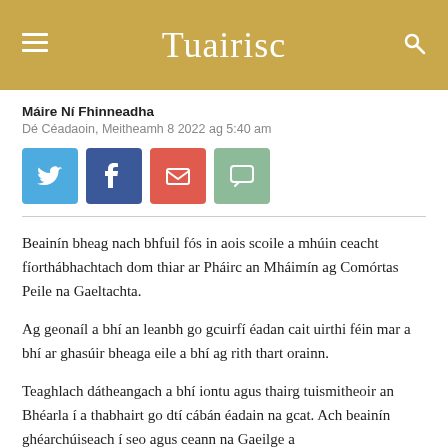Tuairisc
Máire Ní Fhinneadha
Dé Céadaoin, Meitheamh 8 2022 ag 5:40 am
[Figure (other): Social sharing buttons: Twitter, Facebook, Email, Chat]
Beainín bheag nach bhfuil fós in aois scoile a mhúin ceacht fíorthábhachtach dom thiar ar Pháirc an Mháimín ag Comórtas Peile na Gaeltachta.
Ag geonaíl a bhí an leanbh go gcuirfí éadan cait uirthi féin mar a bhí ar ghasúir bheaga eile a bhí ag rith thart orainn.
Teaghlach dátheangach a bhí iontu agus thairg tuismitheoir an Bhéarla í a thabhairt go dtí cábán éadain na gcat. Ach beainín ghéarchúiseach í seo agus ceann na Gaeilge a